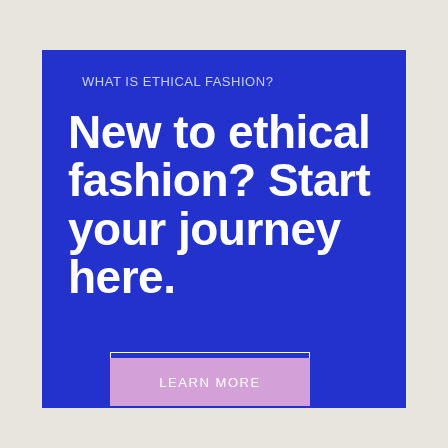WHAT IS ETHICAL FASHION?
New to ethical fashion? Start your journey here.
LEARN MORE